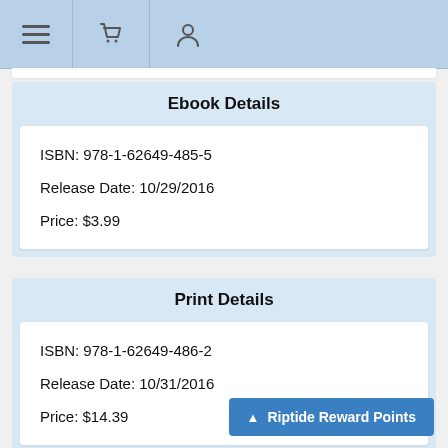Navigation bar with menu, cart, and user icons
Ebook Details
ISBN: 978-1-62649-485-5
Release Date: 10/29/2016
Price: $3.99
Print Details
ISBN: 978-1-62649-486-2
Release Date: 10/31/2016
Price: $14.39